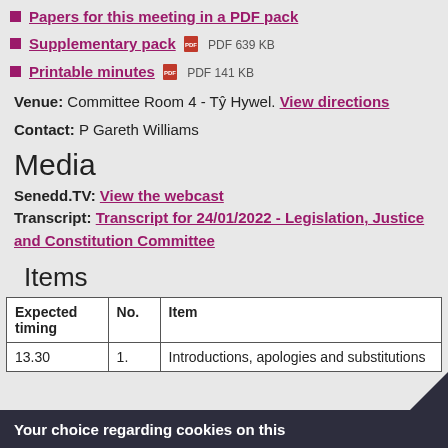Papers for this meeting in a PDF pack
Supplementary pack PDF 639 KB
Printable minutes PDF 141 KB
Venue: Committee Room 4 - Tŷ Hywel. View directions
Contact: P Gareth Williams
Media
Senedd.TV: View the webcast
Transcript: Transcript for 24/01/2022 - Legislation, Justice and Constitution Committee
Items
| Expected timing | No. | Item |
| --- | --- | --- |
| 13.30 | 1. | Introductions, apologies and substitutions |
Your choice regarding cookies on this